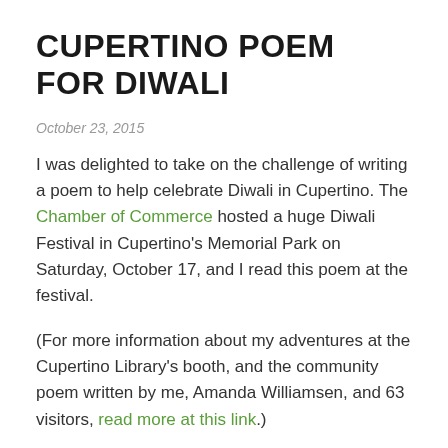CUPERTINO POEM FOR DIWALI
October 23, 2015
I was delighted to take on the challenge of writing a poem to help celebrate Diwali in Cupertino. The Chamber of Commerce hosted a huge Diwali Festival in Cupertino's Memorial Park on Saturday, October 17, and I read this poem at the festival.
(For more information about my adventures at the Cupertino Library's booth, and the community poem written by me, Amanda Williamsen, and 63 visitors, read more at this link.)
This poem is in the form of a pantoum. I like the form for holiday and seasonal poems, because it